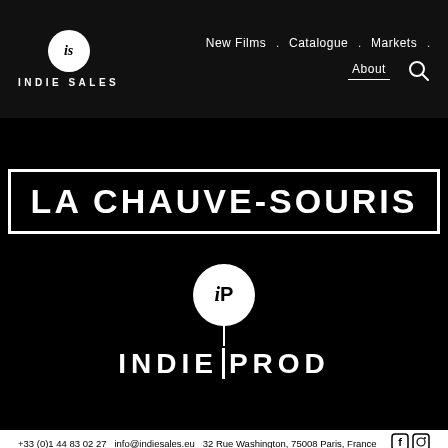IS INDIE SALES | New Films . Catalogue . Markets . About
[Figure (logo): LA CHAUVE-SOURIS film title in bold serif uppercase letters inside a rectangular border]
[Figure (logo): INDIE PROD logo: circular white badge with iP italic text on a stick above the text INDIE PROD in bold uppercase]
+33 (0)1 44 83 02 27
info@indiesales.eu
32 Rue Washington, 75008 Paris, France
Join our Newsletter
© Indie Sales